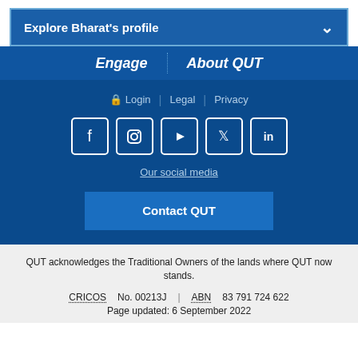Explore Bharat's profile
Engage | About QUT
🔒 Login | Legal | Privacy
[Figure (illustration): Social media icons: Facebook, Instagram, YouTube, Twitter, LinkedIn]
Our social media
Contact QUT
QUT acknowledges the Traditional Owners of the lands where QUT now stands.
CRICOS No. 00213J | ABN 83 791 724 622
Page updated: 6 September 2022